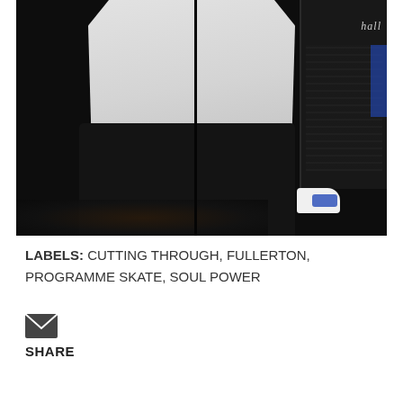[Figure (photo): Concert photo showing a person wearing a light gray/white t-shirt and black leggings/pants, holding a black cable/microphone cord. On the right side, a Marshall amplifier and someone's white sneaker with blue details are visible. Dark background suggesting a concert venue.]
LABELS: CUTTING THROUGH, FULLERTON, PROGRAMME SKATE, SOUL POWER
[Figure (other): Email/envelope icon - small dark envelope icon for sharing via email]
SHARE